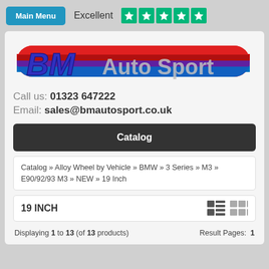Main Menu | Excellent ★★★★★
[Figure (logo): BM Auto Sport logo with red, blue and purple stripe background and stylized BM text in blue/purple with grey Auto Sport text]
Call us: 01323 647222
Email: sales@bmautosport.co.uk
Catalog
Catalog » Alloy Wheel by Vehicle » BMW » 3 Series » M3 » E90/92/93 M3 » NEW » 19 Inch
19 INCH
Displaying 1 to 13 (of 13 products)   Result Pages:  1